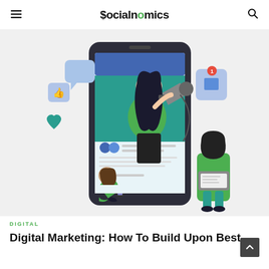$ocialnomics
[Figure (illustration): Digital marketing illustration showing a woman holding a megaphone inside a large smartphone screen, surrounded by social media icons (thumbs up, speech bubbles, heart), and figures of people using devices beside the phone.]
DIGITAL
Digital Marketing: How To Build Upon Best...